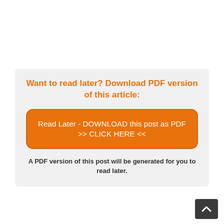Want to read later? Download PDF version of this article:
Read Later - DOWNLOAD this post as PDF >> CLICK HERE <<
A PDF version of this post will be generated for you to read later.